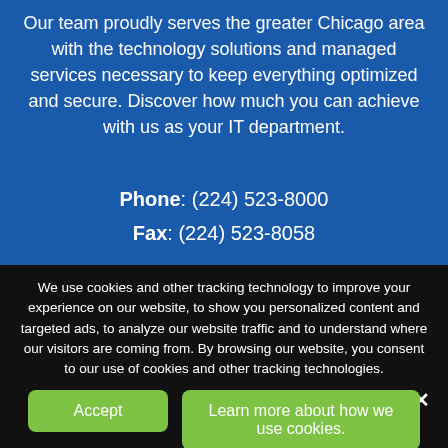Our team proudly serves the greater Chicago area with the technology solutions and managed services necessary to keep everything optimized and secure. Discover how much you can achieve with us as your IT department.
Phone: (224) 523-8000
Fax: (224) 523-8058
164 East Chicago St. Suite 200, Elgin, IL 60120
We use cookies and other tracking technology to improve your experience on our website, to show you personalized content and targeted ads, to analyze our website traffic and to understand where our visitors are coming from. By browsing our website, you consent to our use of cookies and other tracking technologies.
Accept
Learn more about how we use cookies.